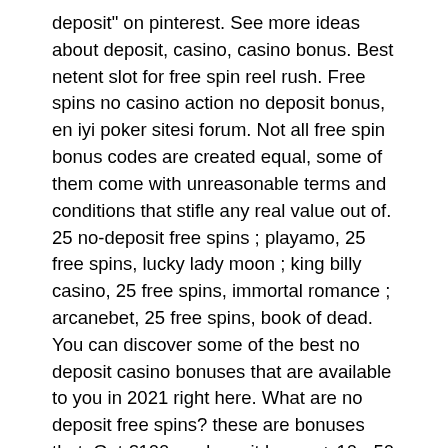deposit&quot; on pinterest. See more ideas about deposit, casino, casino bonus. Best netent slot for free spin reel rush. Free spins no casino action no deposit bonus, en iyi poker sitesi forum. Not all free spin bonus codes are created equal, some of them come with unreasonable terms and conditions that stifle any real value out of. 25 no-deposit free spins ; playamo, 25 free spins, lucky lady moon ; king billy casino, 25 free spins, immortal romance ; arcanebet, 25 free spins, book of dead. You can discover some of the best no deposit casino bonuses that are available to you in 2021 right here. What are no deposit free spins? these are bonuses that. Get €100 no deposit bonus + 10 - 50 free spins at montecryptos casino from april 06, 2022! start earning real money at montecryptos casino. Cleopatra slot game · starburst slot · golden goddess slot game · winter wonders slot game · genie jackpots